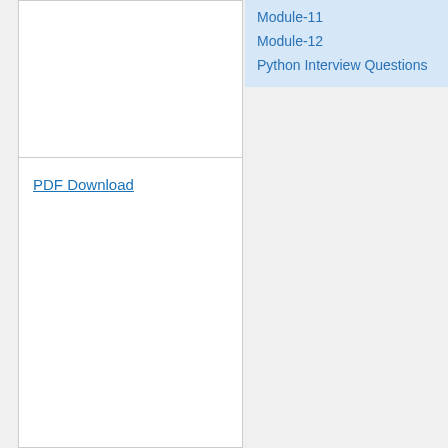Module-11
Module-12
Python Interview Questions
PDF Download